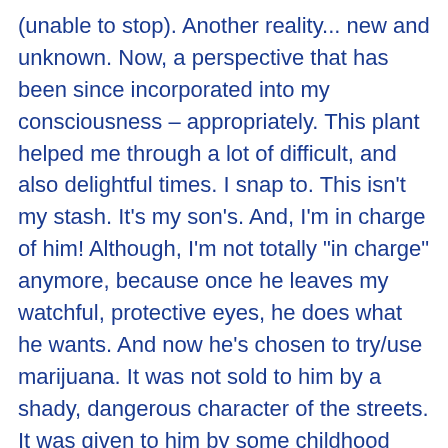(unable to stop). Another reality... new and unknown. Now, a perspective that has been since incorporated into my consciousness – appropriately. This plant helped me through a lot of difficult, and also delightful times. I snap to. This isn't my stash. It's my son's. And, I'm in charge of him! Although, I'm not totally "in charge" anymore, because once he leaves my watchful, protective eyes, he does what he wants. And now he's chosen to try/use marijuana. It was not sold to him by a shady, dangerous character of the streets. It was given to him by some childhood friends in our neighborhood. They all went to preschool together – and now, this rite of passage.

So, I sit him down – awkwardly, to say the least. He can